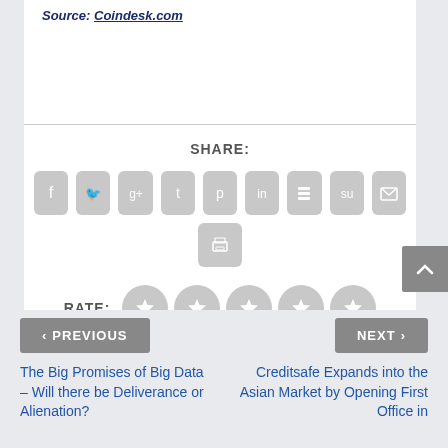Source: Coindesk.com
SHARE:
[Figure (infographic): Social share buttons: Facebook, Twitter, Google+, Tumblr, Pinterest, LinkedIn, Buffer, StumbleUpon, Email, Print]
RATE:
[Figure (infographic): Five gray star rating circles]
< PREVIOUS
NEXT >
The Big Promises of Big Data – Will there be Deliverance or Alienation?
Creditsafe Expands into the Asian Market by Opening First Office in